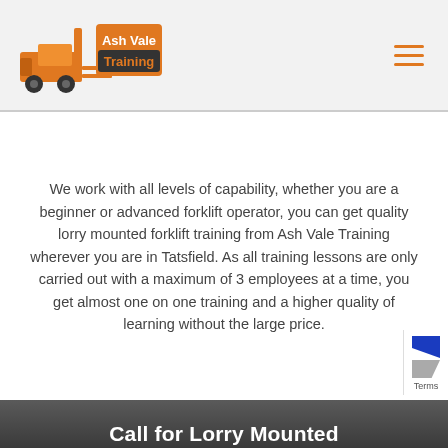Ash Vale Training
We work with all levels of capability, whether you are a beginner or advanced forklift operator, you can get quality lorry mounted forklift training from Ash Vale Training wherever you are in Tatsfield. As all training lessons are only carried out with a maximum of 3 employees at a time, you get almost one on one training and a higher quality of learning without the large price.
Call for Lorry Mounted